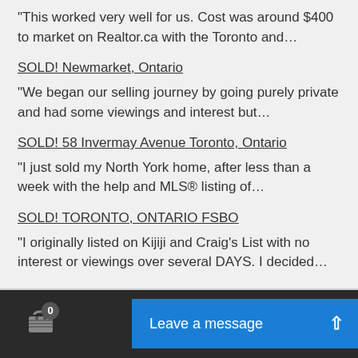“This worked very well for us. Cost was around $400 to market on Realtor.ca with the Toronto and…
SOLD! Newmarket, Ontario
“We began our selling journey by going purely private and had some viewings and interest but…
SOLD! 58 Invermay Avenue Toronto, Ontario
“I just sold my North York home, after less than a week with the help and MLS® listing of…
SOLD! TORONTO, ONTARIO FSBO
“I originally listed on Kijiji and Craig’s List with no interest or viewings over several DAYS. I decided…
Leave a message